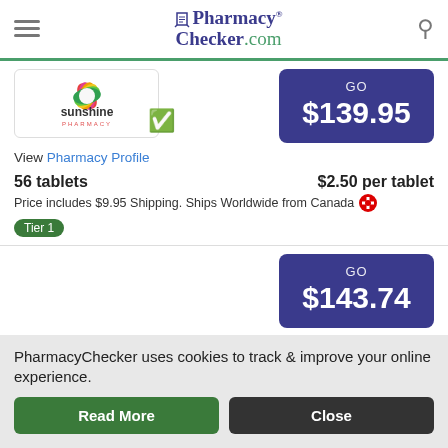PharmacyChecker.com
[Figure (logo): Sunshine Pharmacy logo with colorful flower petals and green checkmark verification badge]
View Pharmacy Profile
GO $139.95
56 tablets   $2.50 per tablet
Price includes $9.95 Shipping. Ships Worldwide from Canada
Tier 1
View Pharmacy Profile
GO $143.74
PharmacyChecker uses cookies to track & improve your online experience.
Read More
Close